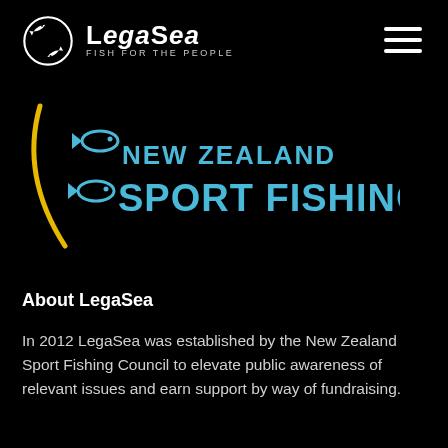[Figure (logo): LegaSea logo: circular fish emblem with two white fish, text 'LegaSea' and tagline 'FISH FOR THE PEOPLE']
[Figure (logo): New Zealand Sport Fishing logo: yellow arc line with blue fish icons and text 'NEW ZEALAND SPORT FISHING' in blue]
About LegaSea
In 2012 LegaSea was established by the New Zealand Sport Fishing Council to elevate public awareness of relevant issues and earn support by way of fundraising.